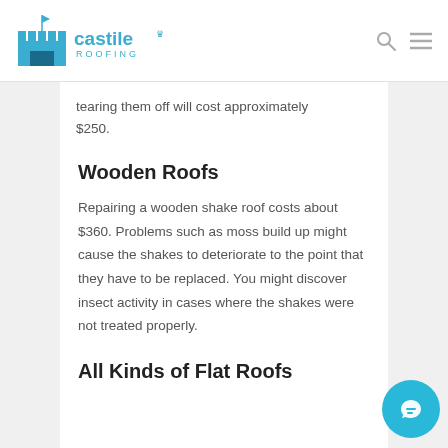castile ROOFING
tearing them off will cost approximately $250.
Wooden Roofs
Repairing a wooden shake roof costs about $360. Problems such as moss build up might cause the shakes to deteriorate to the point that they have to be replaced. You might discover insect activity in cases where the shakes were not treated properly.
All Kinds of Flat Roofs